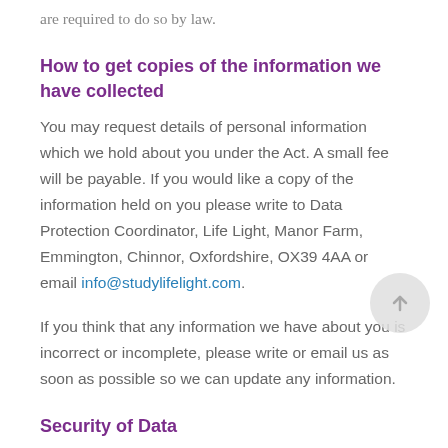are required to do so by law.
How to get copies of the information we have collected
You may request details of personal information which we hold about you under the Act. A small fee will be payable. If you would like a copy of the information held on you please write to Data Protection Coordinator, Life Light, Manor Farm, Emmington, Chinnor, Oxfordshire, OX39 4AA or email info@studylifelight.com.
If you think that any information we have about you is incorrect or incomplete, please write or email us as soon as possible so we can update any information.
Security of Data
We are committed to ensuring that your personal